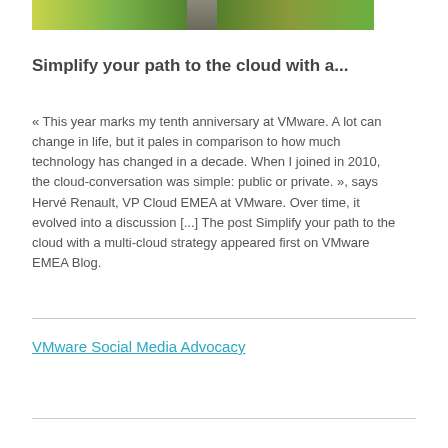[Figure (photo): Aerial or ground-level photo of green fields with a road/path running through them]
Simplify your path to the cloud with a...
« This year marks my tenth anniversary at VMware. A lot can change in life, but it pales in comparison to how much technology has changed in a decade. When I joined in 2010, the cloud-conversation was simple: public or private. », says Hervé Renault, VP Cloud EMEA at VMware. Over time, it evolved into a discussion [...] The post Simplify your path to the cloud with a multi-cloud strategy appeared first on VMware EMEA Blog.
VMware Social Media Advocacy